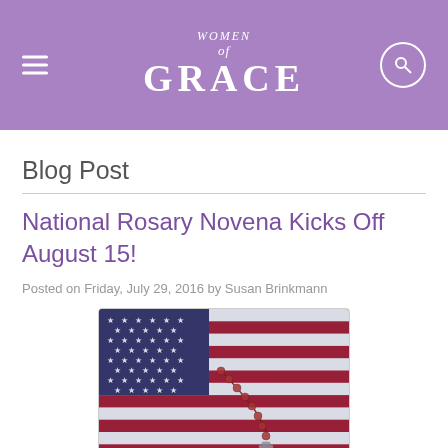Women of Grace
Blog Post
National Rosary Novena Kicks Off August 15!
Posted on Friday, July 29, 2016 by Susan Brinkmann
[Figure (photo): A red rosary resting on an American flag showing stars and stripes]